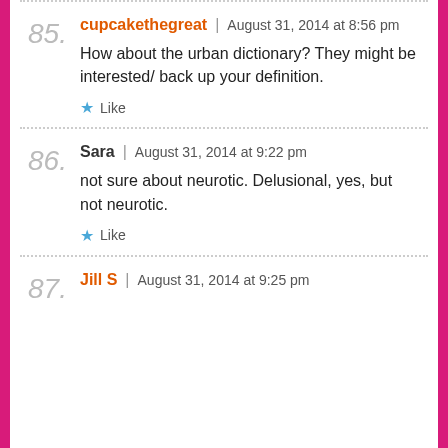85. cupcakethegreat | August 31, 2014 at 8:56 pm
How about the urban dictionary? They might be interested/ back up your definition.
Like
86. Sara | August 31, 2014 at 9:22 pm
not sure about neurotic. Delusional, yes, but not neurotic.
Like
87. Jill S | August 31, 2014 at 9:25 pm